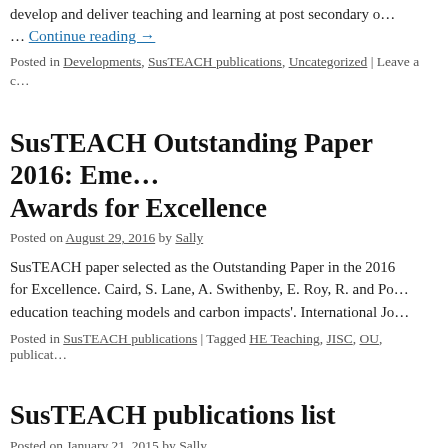develop and deliver teaching and learning at post secondary … Continue reading →
Posted in Developments, SusTEACH publications, Uncategorized | Leave a c…
SusTEACH Outstanding Paper 2016: Eme… Awards for Excellence
Posted on August 29, 2016 by Sally
SusTEACH paper selected as the Outstanding Paper in the 2016 for Excellence. Caird, S. Lane, A. Swithenby, E. Roy, R. and Po… education teaching models and carbon impacts'. International Jo…
Posted in SusTEACH publications | Tagged HE Teaching, JISC, OU, publicat…
SusTEACH publications list
Posted on January 21, 2015 by Sally
Here is the full list of publications that have been recently publi… SusTEACH project thinking, research findings, toolkit dev…